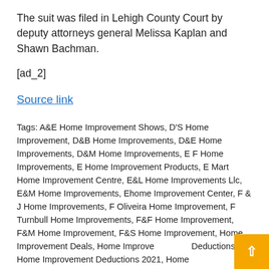The suit was filed in Lehigh County Court by deputy attorneys general Melissa Kaplan and Shawn Bachman.
[ad_2]
Source link
Tags: A&E Home Improvement Shows, D'S Home Improvement, D&B Home Improvements, D&E Home Improvements, D&M Home Improvements, E F Home Improvements, E Home Improvement Products, E Mart Home Improvement Centre, E&L Home Improvements Llc, E&M Home Improvements, Ehome Improvement Center, F & J Home Improvements, F Oliveira Home Improvement, F Turnbull Home Improvements, F&F Home Improvement, F&M Home Improvement, F&S Home Improvement, Home Improvement Deals, Home Improvement Deductions, Home Improvement Deductions 2021, Home Improvement Definition, Home Improvement Depot, Home Improvement Disney Plus, Home Improvement Div, Home